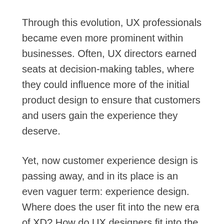Through this evolution, UX professionals became even more prominent within businesses. Often, UX directors earned seats at decision-making tables, where they could influence more of the initial product design to ensure that customers and users gain the experience they deserve.
Yet, now customer experience design is passing away, and in its place is an even vaguer term: experience design. Where does the user fit into the new era of XD? How do UX designers fit into the XD process? Why do we even need another evolution of user/customer-focused design? Read on to find out.
Experience Design Basics